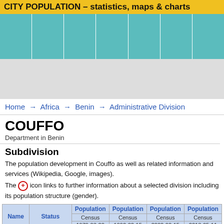CITY POPULATION – statistics, maps & charts
Home → Africa → Benin → Administrative Division
COUFFO
Department in Benin
Subdivision
The population development in Couffo as well as related information and services (Wikipedia, Google, images).
The [icon] icon links to further information about a selected division including its population structure (gender).
| Name | Status | Population Census 1979-03-20 | Population Census 1992-02-15 | Population Census 2002-02-15 | Population Census 2013-05-11 |
| --- | --- | --- | --- | --- | --- |
| Couffo | Department | 273,536 | 395,132 | 524,586 | 745,328 |